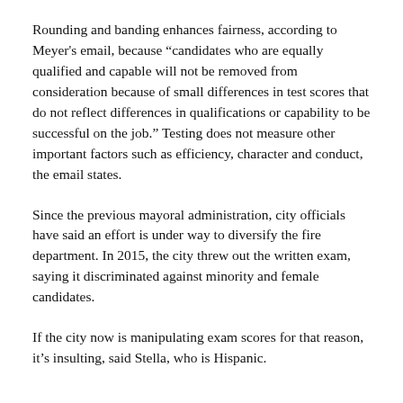Rounding and banding enhances fairness, according to Meyer's email, because “candidates who are equally qualified and capable will not be removed from consideration because of small differences in test scores that do not reflect differences in qualifications or capability to be successful on the job.” Testing does not measure other important factors such as efficiency, character and conduct, the email states.
Since the previous mayoral administration, city officials have said an effort is under way to diversify the fire department. In 2015, the city threw out the written exam, saying it discriminated against minority and female candidates.
If the city now is manipulating exam scores for that reason, it’s insulting, said Stella, who is Hispanic.